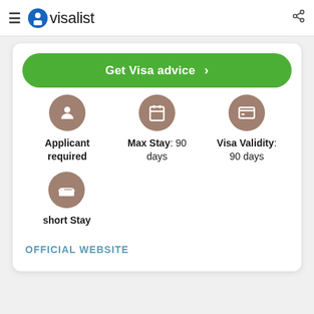visalist
Get Visa advice >
Applicant required
Max Stay: 90 days
Visa Validity: 90 days
[Figure (illustration): Bed/accommodation icon in brown circle representing short Stay]
short Stay
OFFICIAL WEBSITE